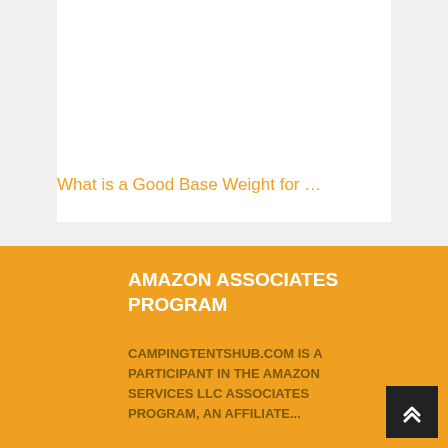What is a Good Base Weight for …
AMAZON ASSOCIATES PROGRAM
CAMPINGTENTSHUB.COM IS A PARTICIPANT IN THE AMAZON SERVICES LLC ASSOCIATES PROGRAM, AN AFFILIATE...